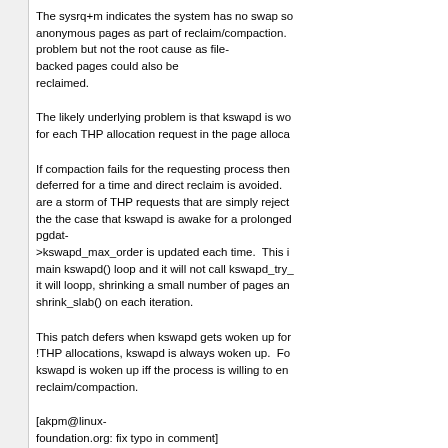The sysrq+m indicates the system has no swap so it is reclaiming anonymous pages as part of reclaim/compaction. This is a symptom of the problem but not the root cause as file-backed pages could also be reclaimed.
The likely underlying problem is that kswapd is woken up too frequently for each THP allocation request in the page allocator.
If compaction fails for the requesting process then compaction is deferred for a time and direct reclaim is avoided. However, if there are a storm of THP requests that are simply rejected, this can lead to the the case that kswapd is awake for a prolonged time. Each time pgdat->kswapd_max_order is updated each time. This is done in the main kswapd() loop and it will not call kswapd_try_to_sleep(). Instead it will loopp, shrinking a small number of pages and calling shrink_slab() on each iteration.
This patch defers when kswapd gets woken up for THP. For !THP allocations, kswapd is always woken up. For THP allocations, kswapd is woken up iff the process is willing to enter direct reclaim/compaction.
[akpm@linux-foundation.org: fix typo in comment]
Signed-off-by: Mel Gorman <mgorman@suse.de>
Cc: Zdenek Kabelac <zkabelac@redhat.com>
Cc: Seth Jennings